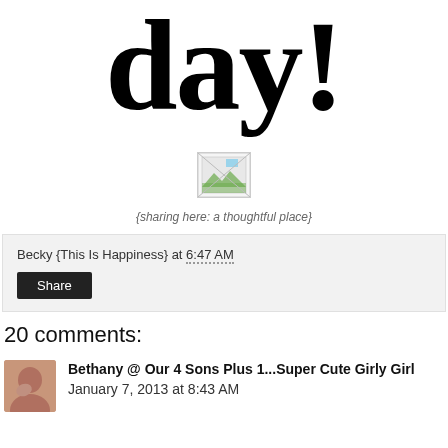day!
[Figure (illustration): Broken image placeholder icon with small landscape thumbnail icon]
{sharing here: a thoughtful place}
Becky {This Is Happiness} at 6:47 AM
Share
20 comments:
Bethany @ Our 4 Sons Plus 1...Super Cute Girly Girl January 7, 2013 at 8:43 AM